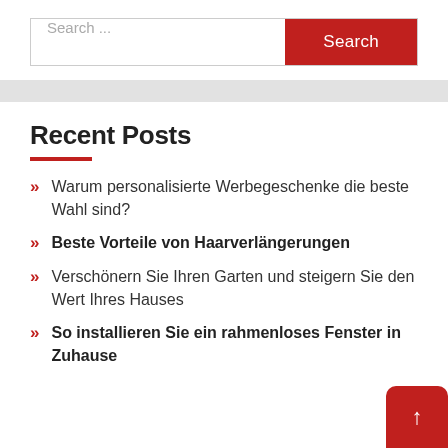Search ...
Recent Posts
Warum personalisierte Werbegeschenke die beste Wahl sind?
Beste Vorteile von Haarverlängerungen
Verschönern Sie Ihren Garten und steigern Sie den Wert Ihres Hauses
So installieren Sie ein rahmenloses Fenster in Ihrem Zuhause